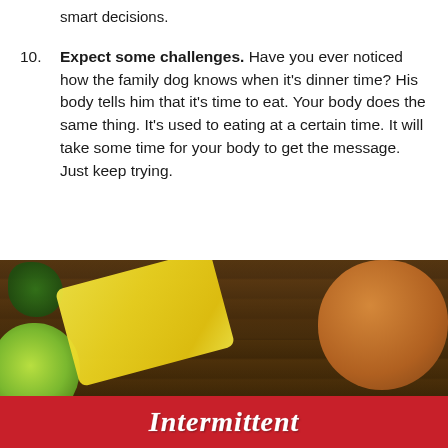smart decisions.
10. Expect some challenges. Have you ever noticed how the family dog knows when it's dinner time? His body tells him that it's time to eat. Your body does the same thing. It's used to eating at a certain time. It will take some time for your body to get the message. Just keep trying.
[Figure (photo): Photo of food items on a wooden table: green apple, yellow tape measure, burger with lettuce, broccoli in background, with a red banner at the bottom showing the word 'Intermittent' in white italic serif font.]